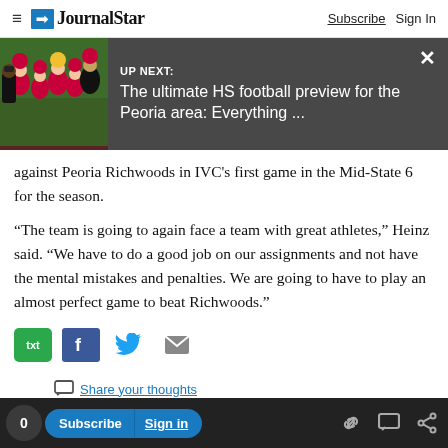JournalStar  Subscribe  Sign In
[Figure (screenshot): UP NEXT banner with football team photo. Text: UP NEXT: The ultimate HS football preview for the Peoria area: Everything ...]
against Peoria Richwoods in IVC's first game in the Mid-State 6 for the season.
“The team is going to again face a team with great athletes,” Heinz said. “We have to do a good job on our assignments and not have the mental mistakes and penalties. We are going to have to play an almost perfect game to beat Richwoods.”
0  Subscribe  Sign in  Share your thoughts